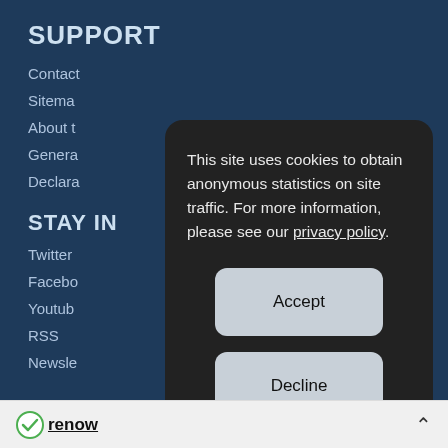SUPPORT
Contact
Sitema
About t
Genera
Declara
STAY IN
Twitter
Facebo
Youtub
RSS
Newsle
This site uses cookies to obtain anonymous statistics on site traffic. For more information, please see our privacy policy.
Accept
Decline
Manage cookies
[Figure (logo): Renow logo with green checkmark and underlined text 'renow']